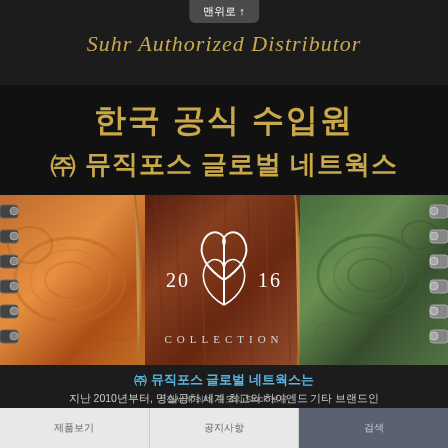맨위로 ↑
Suhr Authorized Distributor
한국 공식 수입원
㈜ 뮤직포스 글로벌 네트웍스
[Figure (photo): Close-up photo of multiple Suhr electric guitars showing various exotic wood tops (burl, rosewood, quilted maple green), with a 2016 Collection logo overlaid in the center]
㈜ 뮤직포스 글로벌 네트웍스는
지난 2010년부터, 명실공히 세계 최고의 하이엔드 기타 브랜드인
Suhr의 한국 공식 수입원으로서 다양한 Suhr 제품들을 국내에 선보이고 있습니다.
* 전세계 최대 규모의 Stock 보유
제품보기    공지사항    검색